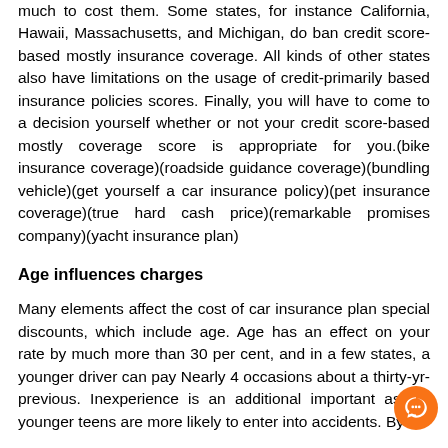much to cost them. Some states, for instance California, Hawaii, Massachusetts, and Michigan, do ban credit score-based mostly insurance coverage. All kinds of other states also have limitations on the usage of credit-primarily based insurance policies scores. Finally, you will have to come to a decision yourself whether or not your credit score-based mostly coverage score is appropriate for you.(bike insurance coverage)(roadside guidance coverage)(bundling vehicle)(get yourself a car insurance policy)(pet insurance coverage)(true hard cash price)(remarkable promises company)(yacht insurance plan)
Age influences charges
Many elements affect the cost of car insurance plan special discounts, which include age. Age has an effect on your rate by much more than 30 per cent, and in a few states, a younger driver can pay Nearly 4 occasions about a thirty-yr-previous. Inexperience is an additional important aspect younger teens are more likely to enter into accidents. By